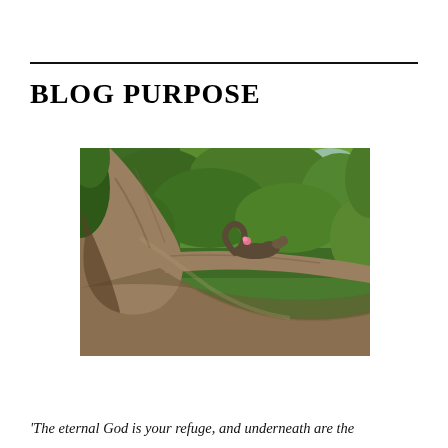BLOG PURPOSE
[Figure (photo): A squirrel resting on a large curved tree branch, surrounded by dense green foliage in the background. A small pink flower is visible near the animal.]
'The eternal God is your refuge, and underneath are the